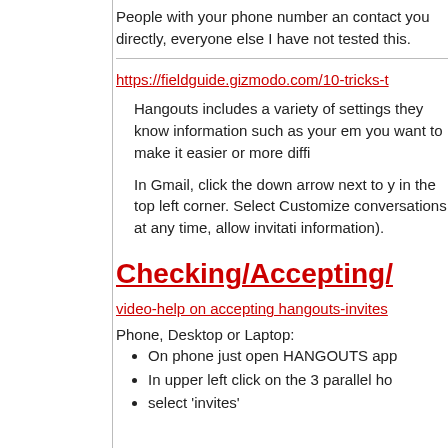People with your phone number and contact you directly, everyone else I have not tested this.
https://fieldguide.gizmodo.com/10-tricks-t
Hangouts includes a variety of settings they know information such as your em you want to make it easier or more diffi
In Gmail, click the down arrow next to y in the top left corner. Select Customize conversations at any time, allow invitati information).
Checking/Accepting/
video-help on accepting hangouts-invites
Phone, Desktop or Laptop:
On phone just open HANGOUTS app
In upper left click on the 3 parallel ho
select 'invites'